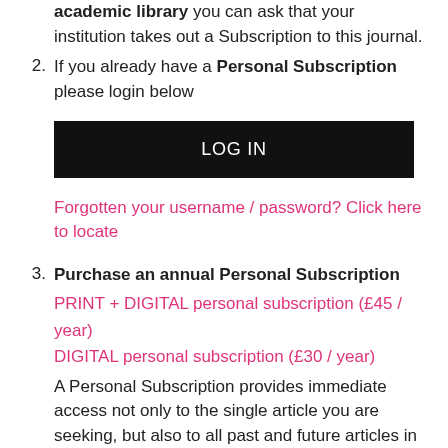academic library you can ask that your institution takes out a Subscription to this journal.
2. If you already have a Personal Subscription please login below
[Figure (other): LOG IN button — black rectangle with white text]
Forgotten your username / password? Click here to locate
3. Purchase an annual Personal Subscription PRINT + DIGITAL personal subscription (£45 / year) DIGITAL personal subscription (£30 / year) A Personal Subscription provides immediate access not only to the single article you are seeking, but also to all past and future articles in this journal up to the expiry of your annual (calendar year) subscription.